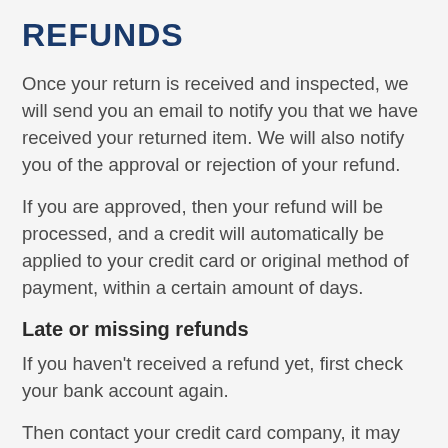REFUNDS
Once your return is received and inspected, we will send you an email to notify you that we have received your returned item. We will also notify you of the approval or rejection of your refund.
If you are approved, then your refund will be processed, and a credit will automatically be applied to your credit card or original method of payment, within a certain amount of days.
Late or missing refunds
If you haven't received a refund yet, first check your bank account again.
Then contact your credit card company, it may take some time before your refund is officially